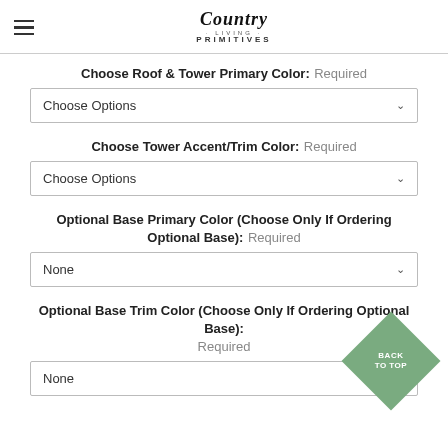Country Living Primitives
Choose Roof & Tower Primary Color: Required
Choose Options
Choose Tower Accent/Trim Color: Required
Choose Options
Optional Base Primary Color (Choose Only If Ordering Optional Base): Required
None
Optional Base Trim Color (Choose Only If Ordering Optional Base): Required
None